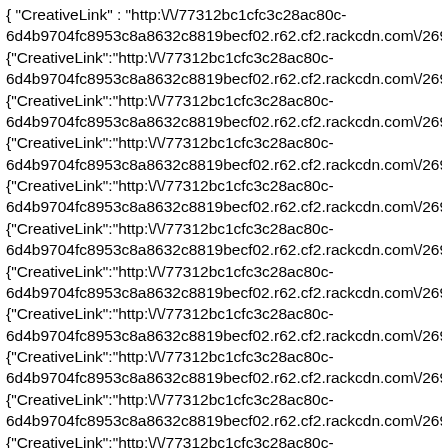{ "CreativeLink" : "http:\/\/77312bc1cfc3c28ac80c-6d4b9704fc8953c8a8632c8819becf02.r62.cf2.rackcdn.com\/26910\/2
{"CreativeLink":"http:\/\/77312bc1cfc3c28ac80c-6d4b9704fc8953c8a8632c8819becf02.r62.cf2.rackcdn.com\/26910\/2
{"CreativeLink":"http:\/\/77312bc1cfc3c28ac80c-6d4b9704fc8953c8a8632c8819becf02.r62.cf2.rackcdn.com\/26910\/2
{"CreativeLink":"http:\/\/77312bc1cfc3c28ac80c-6d4b9704fc8953c8a8632c8819becf02.r62.cf2.rackcdn.com\/26910\/2
{"CreativeLink":"http:\/\/77312bc1cfc3c28ac80c-6d4b9704fc8953c8a8632c8819becf02.r62.cf2.rackcdn.com\/26910\/2
{"CreativeLink":"http:\/\/77312bc1cfc3c28ac80c-6d4b9704fc8953c8a8632c8819becf02.r62.cf2.rackcdn.com\/26910\/2
{"CreativeLink":"http:\/\/77312bc1cfc3c28ac80c-6d4b9704fc8953c8a8632c8819becf02.r62.cf2.rackcdn.com\/26910\/2
{"CreativeLink":"http:\/\/77312bc1cfc3c28ac80c-6d4b9704fc8953c8a8632c8819becf02.r62.cf2.rackcdn.com\/26910\/2
{"CreativeLink":"http:\/\/77312bc1cfc3c28ac80c-6d4b9704fc8953c8a8632c8819becf02.r62.cf2.rackcdn.com\/26910\/2
{"CreativeLink":"http:\/\/77312bc1cfc3c28ac80c-6d4b9704fc8953c8a8632c8819becf02.r62.cf2.rackcdn.com\/26910\/2
{"CreativeLink":"http:\/\/77312bc1cfc3c28ac80c-6d4b9704fc8953c8a8632c8819becf02.r62.cf2.rackcdn.com\/26910\/2
{"CreativeLink":"http:\/\/77312bc1cfc3c28ac80c-6d4b9704fc8953c8a8632c8819becf02.r62.cf2.rackcdn.com\/26910\/2